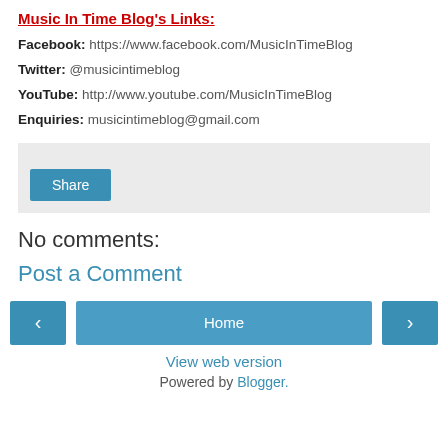Music In Time Blog's Links:
Facebook: https://www.facebook.com/MusicInTimeBlog
Twitter: @musicintimeblog
YouTube: http://www.youtube.com/MusicInTimeBlog
Enquiries: musicintimeblog@gmail.com
[Figure (other): Share button widget area with grey background and a blue Share button]
No comments:
Post a Comment
[Figure (other): Navigation bar with left arrow button, Home button, and right arrow button]
View web version
Powered by Blogger.